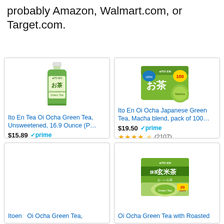probably Amazon, Walmart.com, or Target.com.
[Figure (screenshot): Product grid showing 4 Ito En green tea products with prices, prime badges, and star ratings. Top-left: Ito En Tea Oi Ocha Green Tea, Unsweetened, 16.9 Ounce (P… $15.89 prime, 4.5 stars (12334). Top-right: Ito En Oi Ocha Japanese Green Tea, Macha blend, pack of 100… $19.50 prime, 4 stars (2107). Bottom-left: Itoen Oi Ocha Green Tea, (partial). Bottom-right: Oi Ocha Green Tea with Roasted (partial).]